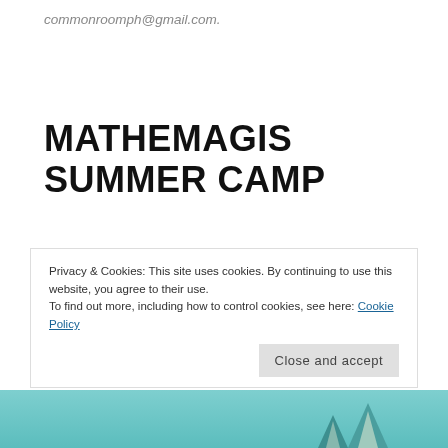commonroomph@gmail.com.
MATHEMAGIS SUMMER CAMP
Posted on April 20, 2017
Posted in Children, Education
Tagged 2017, academic, Activity, Alabang, Camp, Children,
Privacy & Cookies: This site uses cookies. By continuing to use this website, you agree to their use. To find out more, including how to control cookies, see here: Cookie Policy
[Figure (illustration): Bottom portion of a summer camp illustration with teal/turquoise background showing tent shapes]